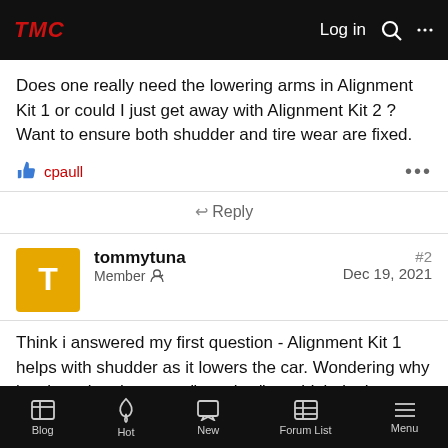TMC | Log in
Does one really need the lowering arms in Alignment Kit 1 or could I just get away with Alignment Kit 2 ? Want to ensure both shudder and tire wear are fixed.
cpaull
Reply
tommytuna
Member
#2
Dec 19, 2021
Think i answered my first question - Alignment Kit 1 helps with shudder as it lowers the car. Wondering why just lowering the car to "very low" wouldn't do the same thing?
Blog | Hot | New | Forum List | Menu